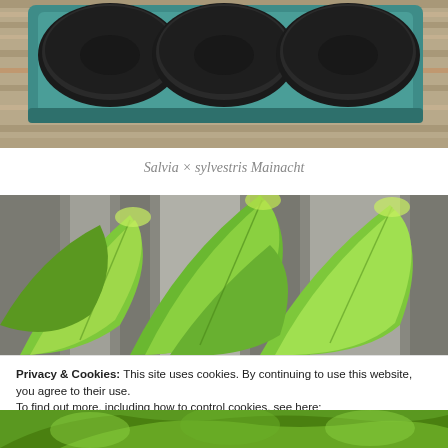[Figure (photo): Seed starting tray with black soil plugs on a wooden surface, teal/green plastic tray]
Salvia × sylvestris Mainacht
[Figure (photo): Green plant seedlings with large bright green leaves against a blurred wooden background]
Privacy & Cookies: This site uses cookies. By continuing to use this website, you agree to their use.
To find out more, including how to control cookies, see here:
Cookie Policy
Close and accept
[Figure (photo): Bottom portion of green plant seedlings, partially visible]